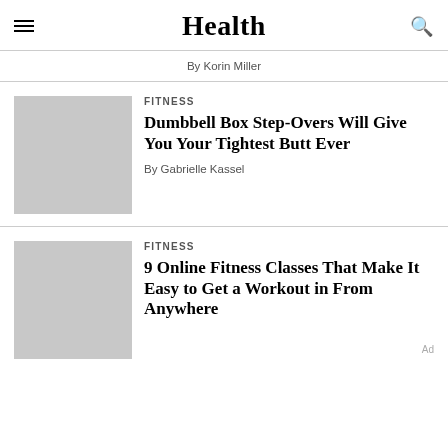Health
By Korin Miller
FITNESS
Dumbbell Box Step-Overs Will Give You Your Tightest Butt Ever
By Gabrielle Kassel
FITNESS
9 Online Fitness Classes That Make It Easy to Get a Workout in From Anywhere